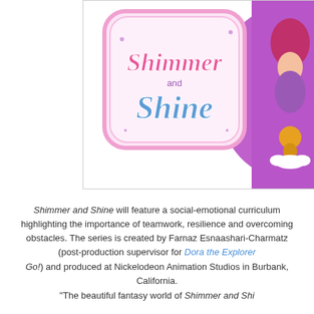[Figure (illustration): Shimmer and Shine logo on a white/purple background with cartoon characters including a genie girl and a monkey on a cloud. The logo shows 'Shimmer and Shine' in pink and blue stylized text within an ornate pink frame.]
Shimmer and Shine will feature a social-emotional curriculum highlighting the importance of teamwork, resilience and overcoming obstacles. The series is created by Farnaz Esnaashari-Charmatz (post-production supervisor for Dora the Explorer and Go, Diego, Go!) and produced at Nickelodeon Animation Studios in Burbank, California.
"The beautiful fantasy world of Shimmer and Shine